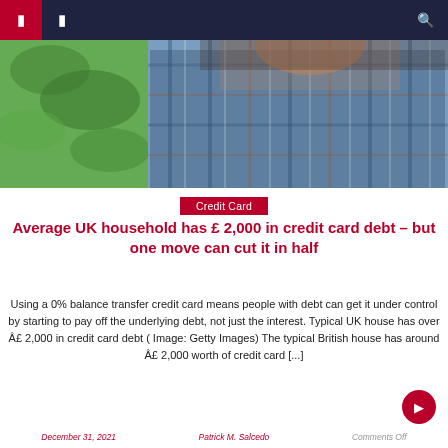Navigation bar with menu icons and search
[Figure (photo): Person wearing blue plaid flannel shirt, head bowed/stressed, with green foliage background on left side]
Credit Card
Average UK household has £ 2,000 in credit card debt – but one move can cut it in half
Using a 0% balance transfer credit card means people with debt can get it under control by starting to pay off the underlying debt, not just the interest. Typical UK house has over Â£ 2,000 in credit card debt ( Image: Getty Images) The typical British house has around Â£ 2,000 worth of credit card [...]
December 31, 2021   Patrick M. Salcedo   Comments Off